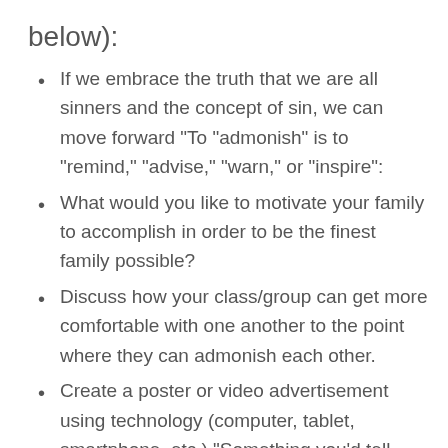below):
If we embrace the truth that we are all sinners and the concept of sin, we can move forward “To “admonish” is to “remind,” “advise,” “warn,” or “inspire”:
What would you like to motivate your family to accomplish in order to be the finest family possible?
Discuss how your class/group can get more comfortable with one another to the point where they can admonish each other.
Create a poster or video advertisement using technology (computer, tablet, smartphone, etc.) “Something you’d tell your class/group to do... or